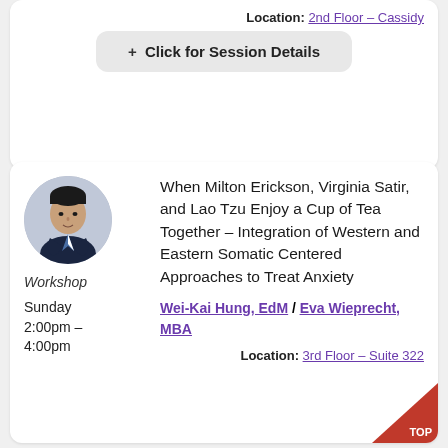Location: 2nd Floor – Cassidy
+ Click for Session Details
[Figure (photo): Headshot of a man in a suit, circular crop]
Workshop
Sunday 2:00pm – 4:00pm
When Milton Erickson, Virginia Satir, and Lao Tzu Enjoy a Cup of Tea Together – Integration of Western and Eastern Somatic Centered Approaches to Treat Anxiety
Wei-Kai Hung, EdM / Eva Wieprecht, MBA
Location: 3rd Floor – Suite 322